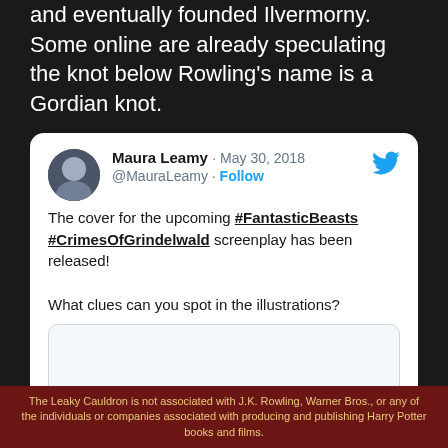and eventually founded Ilvermorny. Some online are already speculating the knot below Rowling's name is a Gordian knot.
Maura Leamy · May 30, 2018
@MauraLeamy · Follow
The cover for the upcoming #FantasticBeasts #CrimesOfGrindelwald screenplay has been released!

What clues can you spot in the illustrations?
[Figure (screenshot): Embedded tweet image placeholder (blank rounded rectangle)]
The Leaky Cauldron is not associated with J.K. Rowling, Warner Bros., or any of the individuals or companies associated with producing and publishing Harry Potter books and films.